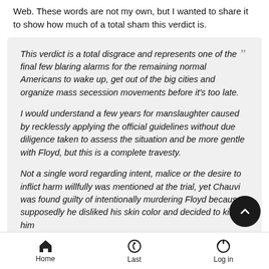Web. These words are not my own, but I wanted to share it to show how much of a total sham this verdict is.
This verdict is a total disgrace and represents one of the final few blaring alarms for the remaining normal Americans to wake up, get out of the big cities and organize mass secession movements before it's too late.

I would understand a few years for manslaughter caused by recklessly applying the official guidelines without due diligence taken to assess the situation and be more gentle with Floyd, but this is a complete travesty.

Not a single word regarding intent, malice or the desire to inflict harm willfully was mentioned at the trial, yet Chauvin was found guilty of intentionally murdering Floyd because supposedly he disliked his skin color and decided to kill him
Home   Last   Log in